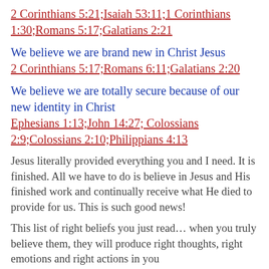2 Corinthians 5:21;Isaiah 53:11;1 Corinthians 1:30;Romans 5:17;Galatians 2:21
We believe we are brand new in Christ Jesus
2 Corinthians 5:17;Romans 6:11;Galatians 2:20
We believe we are totally secure because of our new identity in Christ
Ephesians 1:13;John 14:27; Colossians 2:9;Colossians 2:10;Philippians 4:13
Jesus literally provided everything you and I need. It is finished. All we have to do is believe in Jesus and His finished work and continually receive what He died to provide for us. This is such good news!
This list of right beliefs you just read… when you truly believe them, they will produce right thoughts, right emotions and right actions in you